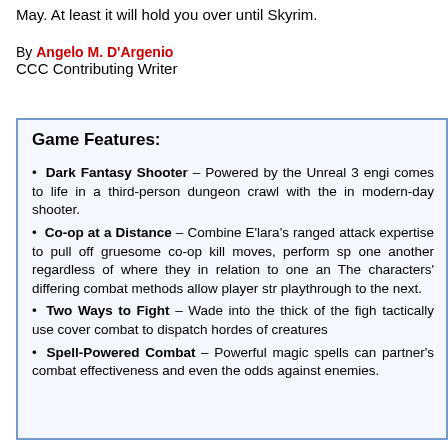May. At least it will hold you over until Skyrim.
By Angelo M. D'Argenio
CCC Contributing Writer
Game Features:
Dark Fantasy Shooter – Powered by the Unreal 3 engine, comes to life in a third-person dungeon crawl with the intensity of a modern-day shooter.
Co-op at a Distance – Combine E'lara's ranged attack expertise to pull off gruesome co-op kill moves, perform sp one another regardless of where they in relation to one an The characters' differing combat methods allow player str playthrough to the next.
Two Ways to Fight – Wade into the thick of the fight tactically use cover combat to dispatch hordes of creatures
Spell-Powered Combat – Powerful magic spells can partner's combat effectiveness and even the odds against enemies.